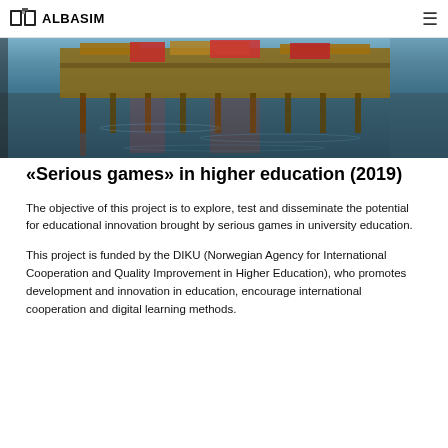ALBASIM
[Figure (photo): Waterfront photo showing a pier/dock structure with red buildings reflected in water, in a painterly HDR style]
«Serious games» in higher education (2019)
The objective of this project is to explore, test and disseminate the potential for educational innovation brought by serious games in university education.
This project is funded by the DIKU (Norwegian Agency for International Cooperation and Quality Improvement in Higher Education), who promotes development and innovation in education, encourage international cooperation and digital learning methods.